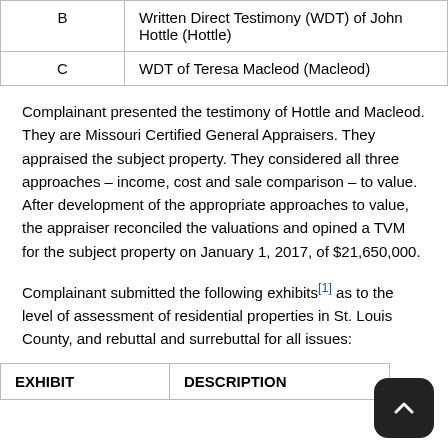| EXHIBIT | DESCRIPTION |
| --- | --- |
| B | Written Direct Testimony (WDT) of John Hottle (Hottle) |
| C | WDT of Teresa Macleod (Macleod) |
Complainant presented the testimony of Hottle and Macleod. They are Missouri Certified General Appraisers. They appraised the subject property. They considered all three approaches – income, cost and sale comparison – to value. After development of the appropriate approaches to value, the appraiser reconciled the valuations and opined a TVM for the subject property on January 1, 2017, of $21,650,000.
Complainant submitted the following exhibits[1] as to the level of assessment of residential properties in St. Louis County, and rebuttal and surrebuttal for all issues:
| EXHIBIT | DESCRIPTION |
| --- | --- |